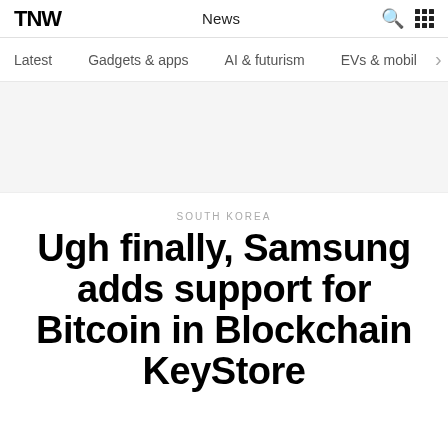TNW News
Latest  Gadgets & apps  AI & futurism  EVs & mobil
SOUTH KOREA
Ugh finally, Samsung adds support for Bitcoin in Blockchain KeyStore